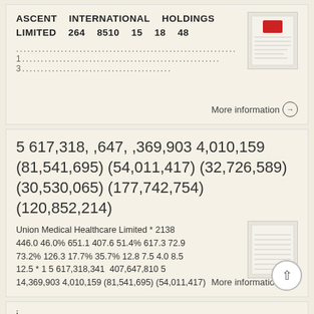ASCENT INTERNATIONAL HOLDINGS LIMITED 264 8510 15 18 48
.............................................................
1.............................................................
3........................................
More information →
5 617,318, ,647, ,369,903 4,010,159 (81,541,695) (54,011,417) (32,726,589) (30,530,065) (177,742,754) (120,852,214)
Union Medical Healthcare Limited * 2138 446.0 46.0% 651.1 407.6 51.4% 617.3 72.9 73.2% 126.3 17.7% 35.7% 12.8 7.5 4.0 8.5 12.5 * 1 5 617,318,341 407,647,810 5 14,369,903 4,010,159 (81,541,695) (54,011,417)
More information →
i